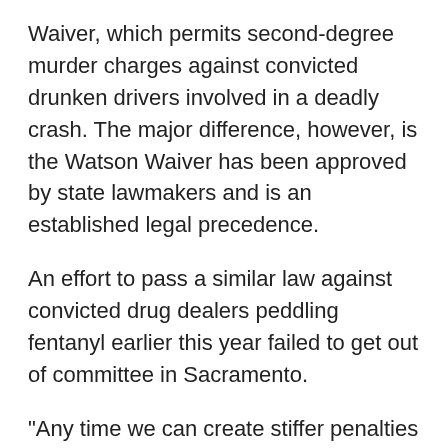Waiver, which permits second-degree murder charges against convicted drunken drivers involved in a deadly crash. The major difference, however, is the Watson Waiver has been approved by state lawmakers and is an established legal precedence.
An effort to pass a similar law against convicted drug dealers peddling fentanyl earlier this year failed to get out of committee in Sacramento.
"Any time we can create stiffer penalties for people distributing fentanyl that leads to a death, I think it's a positive so I applaud those district attorneys for taking that step. Is it ideal? No, because you have to have them in court the first time before you can give them that admonishment so if they were to cause a death with their first distribution, you might not be able to charge them with murder so that's the only downside